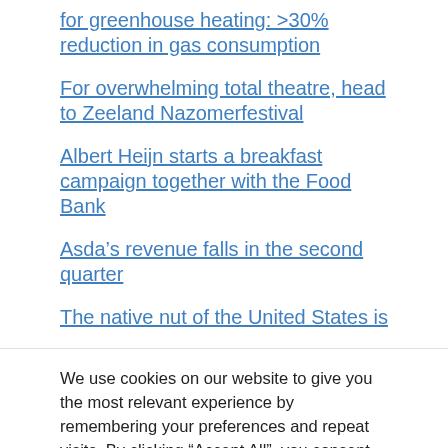for greenhouse heating: >30% reduction in gas consumption
For overwhelming total theatre, head to Zeeland Nazomerfestival
Albert Heijn starts a breakfast campaign together with the Food Bank
Asda's revenue falls in the second quarter
The native nut of the United States is
We use cookies on our website to give you the most relevant experience by remembering your preferences and repeat visits. By clicking “Accept All”, you consent to the use of ALL the cookies. However, you may visit "Cookie Settings" to provide a controlled consent.